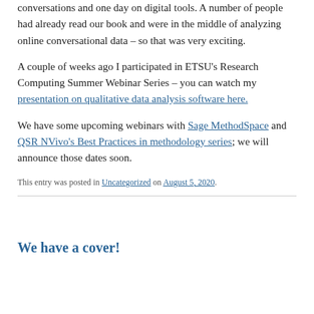conversations and one day on digital tools. A number of people had already read our book and were in the middle of analyzing online conversational data – so that was very exciting.
A couple of weeks ago I participated in ETSU's Research Computing Summer Webinar Series – you can watch my presentation on qualitative data analysis software here.
We have some upcoming webinars with Sage MethodSpace and QSR NVivo's Best Practices in methodology series; we will announce those dates soon.
This entry was posted in Uncategorized on August 5, 2020.
We have a cover!